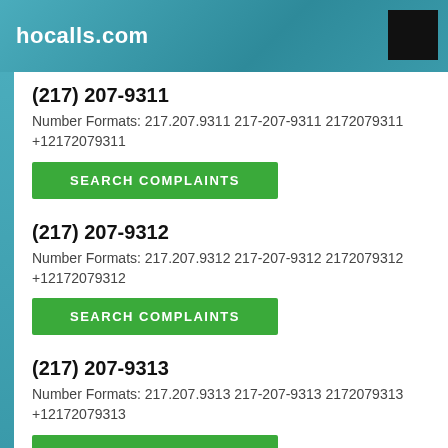hocalls.com
(217) 207-9311
Number Formats: 217.207.9311 217-207-9311 2172079311 +12172079311
SEARCH COMPLAINTS
(217) 207-9312
Number Formats: 217.207.9312 217-207-9312 2172079312 +12172079312
SEARCH COMPLAINTS
(217) 207-9313
Number Formats: 217.207.9313 217-207-9313 2172079313 +12172079313
SEARCH COMPLAINTS